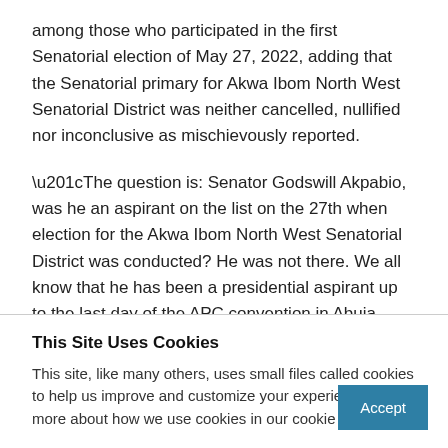among those who participated in the first Senatorial election of May 27, 2022, adding that the Senatorial primary for Akwa Ibom North West Senatorial District was neither cancelled, nullified nor inconclusive as mischievously reported.
“The question is: Senator Godswill Akpabio, was he an aspirant on the list on the 27th when election for the Akwa Ibom North West Senatorial District was conducted? He was not there. We all know that he has been a presidential aspirant up to the last day of the APC convention in Abuja. That was what he participated in.
This Site Uses Cookies
This site, like many others, uses small files called cookies to help us improve and customize your experience. Learn more about how we use cookies in our cookie policy.